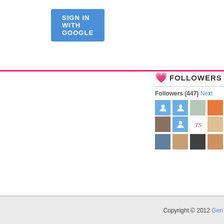[Figure (other): Blue 'Sign in with Google' button in top-left area]
[Figure (infographic): Followers section with heart icon, FOLLOWERS heading, count of 447 with Next link, and a 4x3 grid of follower avatar thumbnails]
Copyright © 2012 Gen